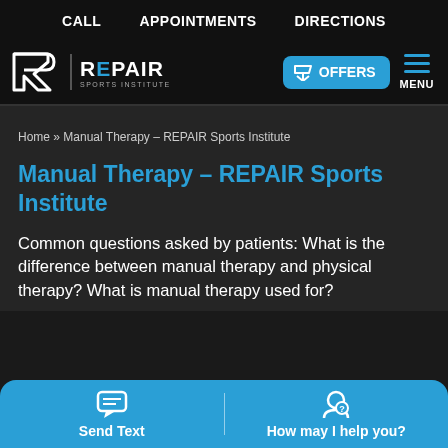CALL   APPOINTMENTS   DIRECTIONS
[Figure (logo): REPAIR Sports Institute logo with R icon on black background, OFFERS button, and hamburger MENU]
Home » Manual Therapy – REPAIR Sports Institute
Manual Therapy – REPAIR Sports Institute
Common questions asked by patients: What is the difference between manual therapy and physical therapy? What is manual therapy used for?
Send Text   How may I help you?